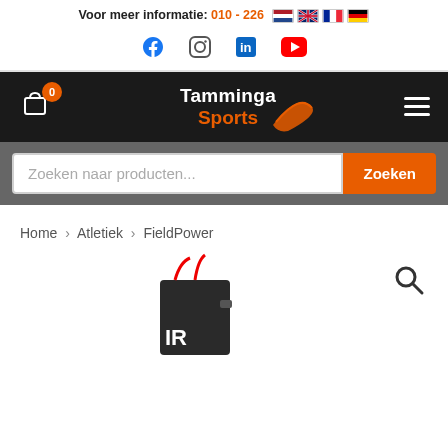Voor meer informatie: 010 - 226 [phone number]
[Figure (screenshot): Social media icons: Facebook, Instagram, LinkedIn, YouTube]
[Figure (logo): Tamminga Sports logo with orange swoosh on dark background, cart icon with badge 0, hamburger menu]
Zoeken naar producten... Zoeken
Home > Atletiek > FieldPower
[Figure (photo): Product image partly visible at bottom of page, appears to be a FieldPower sports device]